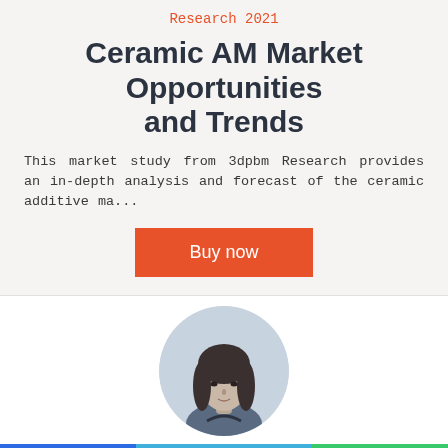Research 2021
Ceramic AM Market Opportunities and Trends
This market study from 3dpbm Research provides an in-depth analysis and forecast of the ceramic additive ma...
[Figure (other): Orange 'Buy now' button]
[Figure (photo): Circular portrait photo of Tess Boissonneault, a woman with dark shoulder-length hair]
Tess Boissonneault